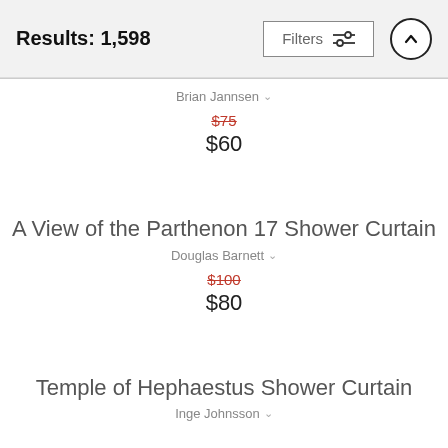Results: 1,598
Brian Jannsen
$75 $60
A View of the Parthenon 17 Shower Curtain
Douglas Barnett
$100 $80
Temple of Hephaestus Shower Curtain
Inge Johnsson